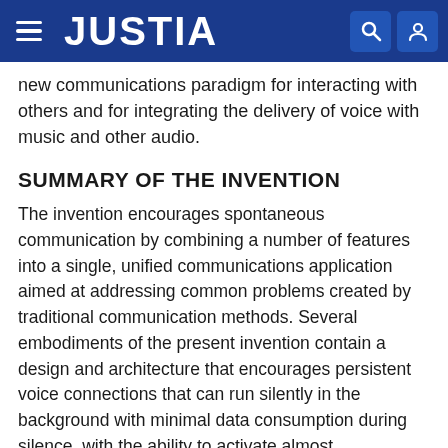JUSTIA
new communications paradigm for interacting with others and for integrating the delivery of voice with music and other audio.
SUMMARY OF THE INVENTION
The invention encourages spontaneous communication by combining a number of features into a single, unified communications application aimed at addressing common problems created by traditional communication methods. Several embodiments of the present invention contain a design and architecture that encourages persistent voice connections that can run silently in the background with minimal data consumption during silence, with the ability to activate almost instantaneously through speech detection. The platform includes advanced audio management capabilities that allow users to collaborate with